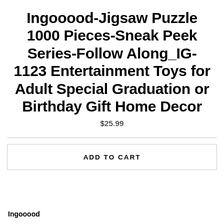Ingooood-Jigsaw Puzzle 1000 Pieces-Sneak Peek Series-Follow Along_IG-1123 Entertainment Toys for Adult Special Graduation or Birthday Gift Home Decor
$25.99
ADD TO CART
Ingooood